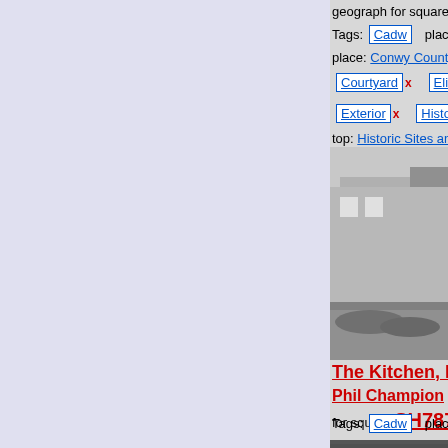geograph for square SH7...
Tags: Cadw   place: Conwy
place: Conwy County Borou...
Courtyard x   Elizabethan x
Exterior x   Historic House x
top: Historic Sites and Artefa...
top: Housing, Dwellings x
Lower Terrace x   North Wa...
Plas Mawr x
person: Robert Wynn x
Terrace x   Town House x
[Figure (photo): Courtyard photo of Plas Mawr, showing stone buildings and walls]
The Kitchen, Plas Mawr - Phil Champion for square SH7877
Tags: Cadw   place: Conwy
place: Conwy County Borou...
Elizabethan x   Fireplace x
Historic House x
[Figure (photo): Interior photo of The Kitchen, Plas Mawr]